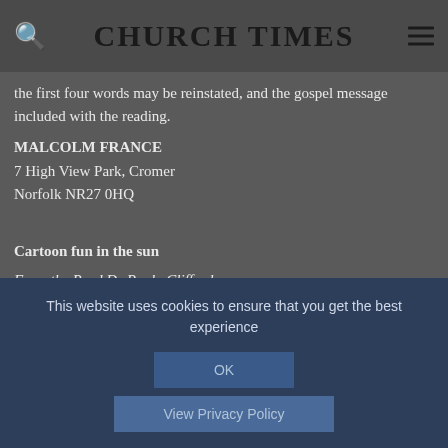CHURCH TIMES
the first four words may be reinstated, and the gospel message included with the reading.
MALCOLM FRANCE
7 High View Park, Cromer
Norfolk NR27 0HQ
Cartoon fun in the sun
From the Revd Dr Paula Clifford
Sir — I was...
This website uses cookies to ensure that you get the best experience
OK
View Privacy Policy